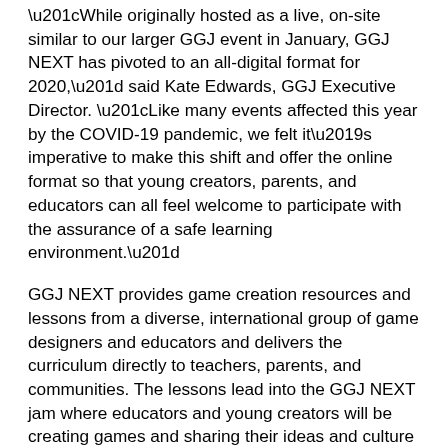“While originally hosted as a live, on-site similar to our larger GGJ event in January, GGJ NEXT has pivoted to an all-digital format for 2020,” said Kate Edwards, GGJ Executive Director. “Like many events affected this year by the COVID-19 pandemic, we felt it’s imperative to make this shift and offer the online format so that young creators, parents, and educators can all feel welcome to participate with the assurance of a safe learning environment.”
GGJ NEXT provides game creation resources and lessons from a diverse, international group of game designers and educators and delivers the curriculum directly to teachers, parents, and communities. The lessons lead into the GGJ NEXT jam where educators and young creators will be creating games and sharing their ideas and culture with the rest of the world. Young creators participating in GGJ NEXT will be able to showcase their new skills, creative ideas, and personal self-expression through games on the GGJ NEXT website where videos created by the young jammers will be hosted.